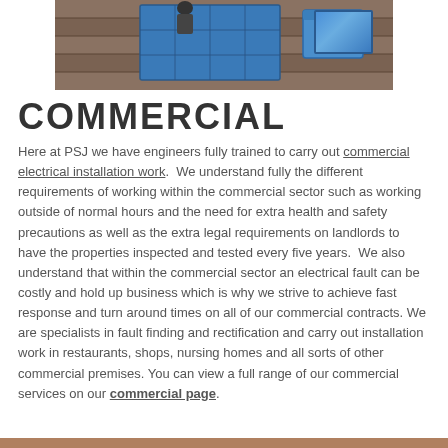[Figure (photo): Workers installing solar panels on a tiled roof with tools and a blue storage bin visible]
COMMERCIAL
Here at PSJ we have engineers fully trained to carry out commercial electrical installation work.  We understand fully the different requirements of working within the commercial sector such as working outside of normal hours and the need for extra health and safety precautions as well as the extra legal requirements on landlords to have the properties inspected and tested every five years.  We also understand that within the commercial sector an electrical fault can be costly and hold up business which is why we strive to achieve fast response and turn around times on all of our commercial contracts. We are specialists in fault finding and rectification and carry out installation work in restaurants, shops, nursing homes and all sorts of other commercial premises. You can view a full range of our commercial services on our commercial page.